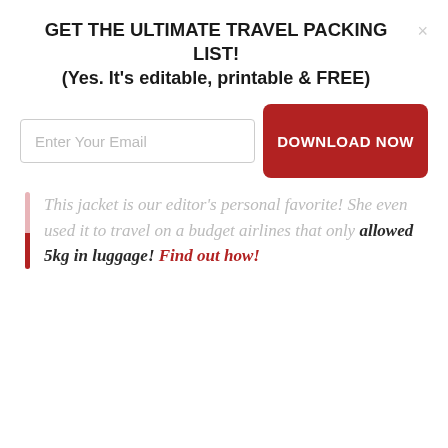GET THE ULTIMATE TRAVEL PACKING LIST!
(Yes. It's editable, printable & FREE)
[Figure (other): Email signup form with text input 'Enter Your Email' and a dark red 'DOWNLOAD NOW' button]
This jacket is our editor's personal favorite! She even used it to travel on a budget airlines that only allowed 5kg in luggage! Find out how!